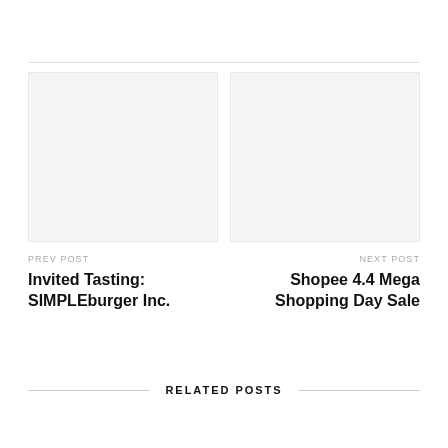[Figure (other): Previous post thumbnail placeholder image (light grey box)]
PREV POST
Invited Tasting: SIMPLEburger Inc.
[Figure (other): Next post thumbnail placeholder image (light grey box)]
NEXT POST
Shopee 4.4 Mega Shopping Day Sale
RELATED POSTS